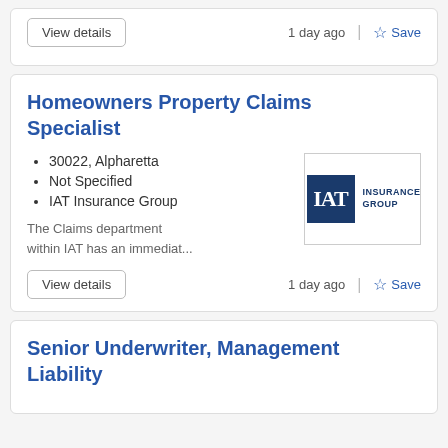View details   1 day ago   Save
Homeowners Property Claims Specialist
30022, Alpharetta
Not Specified
IAT Insurance Group
[Figure (logo): IAT Insurance Group logo — dark navy square with 'IAT' in serif font beside 'INSURANCE GROUP' text]
The Claims department within IAT has an immediat...
View details   1 day ago   Save
Senior Underwriter, Management Liability